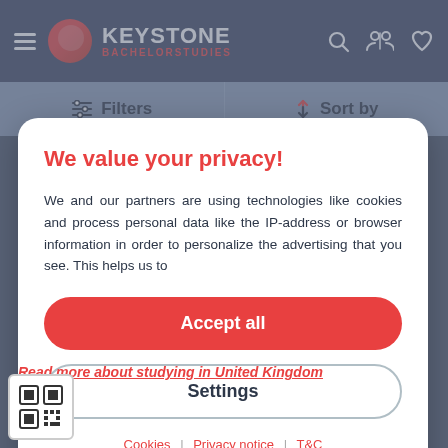KEYSTONE BACHELORSTUDIES
Filters | Sort by
2022
We value your privacy!
We and our partners are using technologies like cookies and process personal data like the IP-address or browser information in order to personalize the advertising that you see. This helps us to
Accept all
Settings
Cookies | Privacy notice | T&C
Read more about studying in United Kingdom